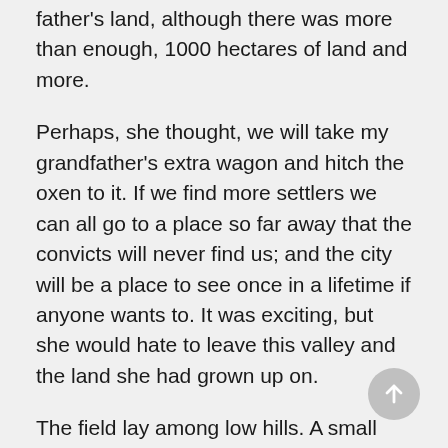certainly did not want to live on his father's land, although there was more than enough, 1000 hectares of land and more.
Perhaps, she thought, we will take my grandfather's extra wagon and hitch the oxen to it. If we find more settlers we can all go to a place so far away that the convicts will never find us; and the city will be a place to see once in a lifetime if anyone wants to. It was exciting, but she would hate to leave this valley and the land she had grown up on.
The field lay among low hills. A small stream meandered along one edge. It might have been on Earth except for the bright sun that was too orange. The crops